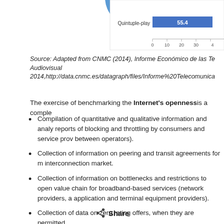[Figure (other): Partial view of a blue circle labeled 'Pay TV' and a horizontal bar chart showing 'Quintuple-play' bar with value 55.4, x-axis showing 0 to 30+ range]
Source: Adapted from CNMC (2014), Informe Económico de las Te Audiovisual 2014,http://data.cnmc.es/datagraph/files/Informe%20Telecomunica
The exercise of benchmarking the Internet's openness is a comple
Compilation of quantitative and qualitative information and analy reports of blocking and throttling by consumers and service prov between operators).
Collection of information on peering and transit agreements for m interconnection market.
Collection of information on bottlenecks and restrictions to open value chain for broadband-based services (network providers, a application and terminal equipment providers).
Collection of data on zero rating offers, when they are permitted
Share